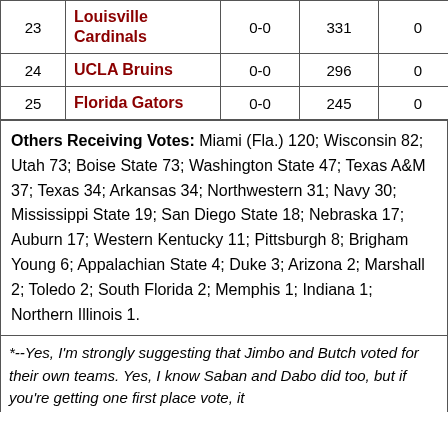| Rank | Team | Record | Points | Previous | Last Year |
| --- | --- | --- | --- | --- | --- |
| 23 | Louisville Cardinals | 0-0 | 331 | 0 | NR |
| 24 | UCLA Bruins | 0-0 | 296 | 0 | NR |
| 25 | Florida Gators | 0-0 | 245 | 0 | NR |
Others Receiving Votes: Miami (Fla.) 120; Wisconsin 82; Utah 73; Boise State 73; Washington State 47; Texas A&M 37; Texas 34; Arkansas 34; Northwestern 31; Navy 30; Mississippi State 19; San Diego State 18; Nebraska 17; Auburn 17; Western Kentucky 11; Pittsburgh 8; Brigham Young 6; Appalachian State 4; Duke 3; Arizona 2; Marshall 2; Toledo 2; South Florida 2; Memphis 1; Indiana 1; Northern Illinois 1.
*--Yes, I'm strongly suggesting that Jimbo and Butch voted for their own teams. Yes, I know Saban and Dabo did too, but if you're getting one first place vote, it